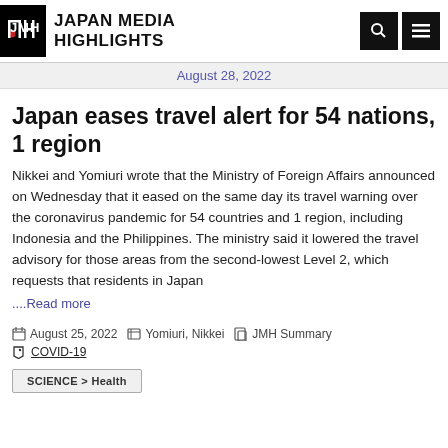JAPAN MEDIA HIGHLIGHTS
August 28, 2022
Japan eases travel alert for 54 nations, 1 region
Nikkei and Yomiuri wrote that the Ministry of Foreign Affairs announced on Wednesday that it eased on the same day its travel warning over the coronavirus pandemic for 54 countries and 1 region, including Indonesia and the Philippines. The ministry said it lowered the travel advisory for those areas from the second-lowest Level 2, which requests that residents in Japan
....Read more
August 25, 2022  Yomiuri, Nikkei  JMH Summary
COVID-19
SCIENCE > Health